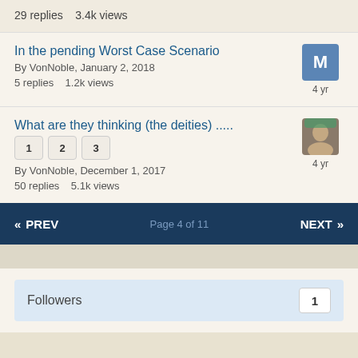29 replies   3.4k views
In the pending Worst Case Scenario
By VonNoble, January 2, 2018
5 replies   1.2k views
4 yr
What are they thinking (the deities) .....
1 2 3
By VonNoble, December 1, 2017
50 replies   5.1k views
4 yr
« PREV   Page 4 of 11   NEXT »
Followers   1